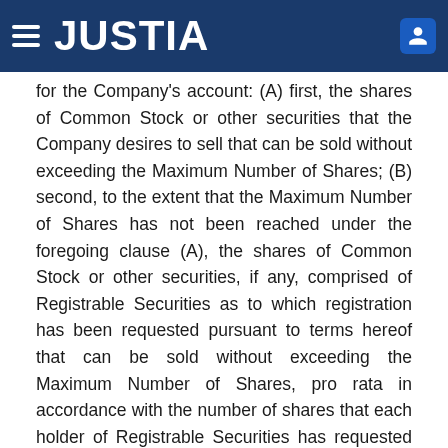JUSTIA
for the Company's account: (A) first, the shares of Common Stock or other securities that the Company desires to sell that can be sold without exceeding the Maximum Number of Shares; (B) second, to the extent that the Maximum Number of Shares has not been reached under the foregoing clause (A), the shares of Common Stock or other securities, if any, comprised of Registrable Securities as to which registration has been requested pursuant to terms hereof that can be sold without exceeding the Maximum Number of Shares, pro rata in accordance with the number of shares that each holder of Registrable Securities has requested be included in such registration, regardless of the number